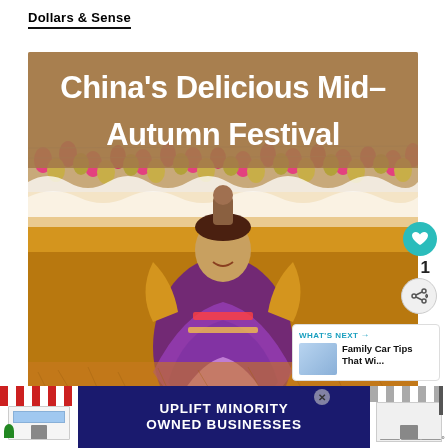Dollars & Sense
[Figure (photo): A woman in colorful traditional costume holding a decorated figure aloft at China's Mid-Autumn Festival, with festive banners and lanterns in the background. The image has a title overlay reading 'China's Delicious Mid-Autumn Festival'.]
China’s Delicious Mid-Autumn Festival
[Figure (screenshot): A 'What's Next' recommendation box showing 'Family Car Tips That Wi...' with a thumbnail image of people near a car.]
[Figure (infographic): Advertisement banner reading 'UPLIFT MINORITY OWNED BUSINESSES' with storefront graphics on both sides.]